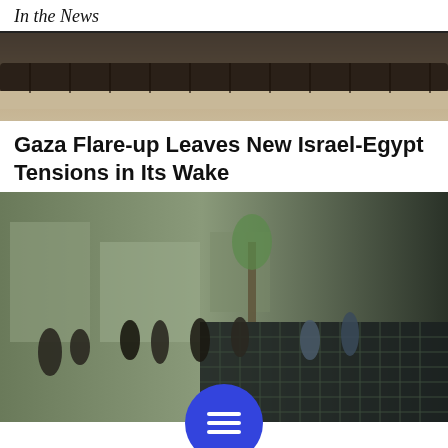In the News
[Figure (photo): Top portion of a military tank, showing dark metal hull and track/tread at bottom, light sandy background]
Gaza Flare-up Leaves New Israel-Egypt Tensions in Its Wake
[Figure (photo): Outdoor scene showing multiple people standing on what appears to be a rooftop or courtyard with a dark metal grid/grating surface; buildings visible in background]
[Figure (other): Blue circular menu button with three horizontal white lines (hamburger menu icon)]
[Figure (other): Advertisement banner for Magen David Adom: 'Support Israel's fastest lifesaving service.' with Donate Now button]